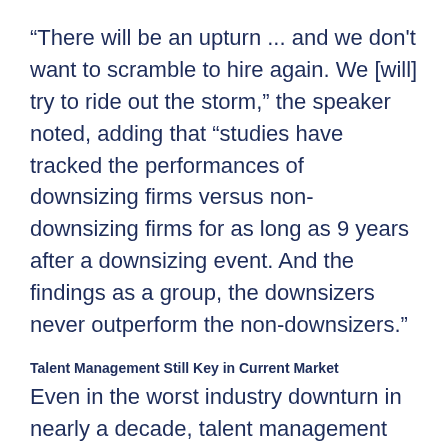“There will be an upturn ... and we don’t want to scramble to hire again. We [will] try to ride out the storm,” the speaker noted, adding that “studies have tracked the performances of downsizing firms versus non-downsizing firms for as long as 9 years after a downsizing event. And the findings as a group, the downsizers never outperform the non-downsizers.”
Talent Management Still Key in Current Market
Even in the worst industry downturn in nearly a decade, talent management remains a top item in the agenda for oil and gas companies.
“The world is becoming smaller and we need to look